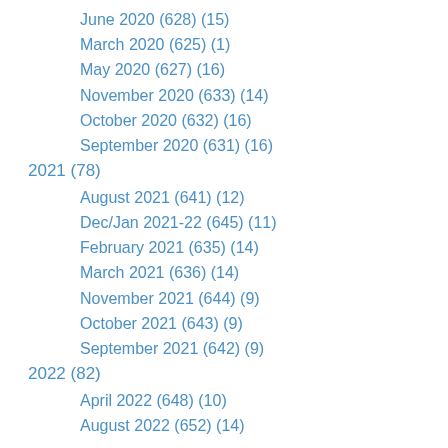June 2020 (628) (15)
March 2020 (625) (1)
May 2020 (627) (16)
November 2020 (633) (14)
October 2020 (632) (16)
September 2020 (631) (16)
2021 (78)
August 2021 (641) (12)
Dec/Jan 2021-22 (645) (11)
February 2021 (635) (14)
March 2021 (636) (14)
November 2021 (644) (9)
October 2021 (643) (9)
September 2021 (642) (9)
2022 (82)
April 2022 (648) (10)
August 2022 (652) (14)